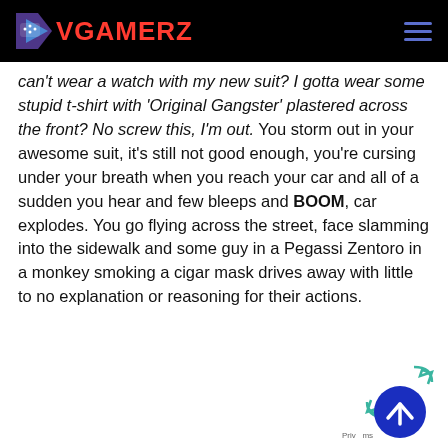VGAMERZ
can't wear a watch with my new suit? I gotta wear some stupid t-shirt with 'Original Gangster' plastered across the front? No screw this, I'm out. You storm out in your awesome suit, it's still not good enough, you're cursing under your breath when you reach your car and all of a sudden you hear and few bleeps and BOOM, car explodes. You go flying across the street, face slamming into the sidewalk and some guy in a Pegassi Zentoro in a monkey smoking a cigar mask drives away with little to no explanation or reasoning for their actions.